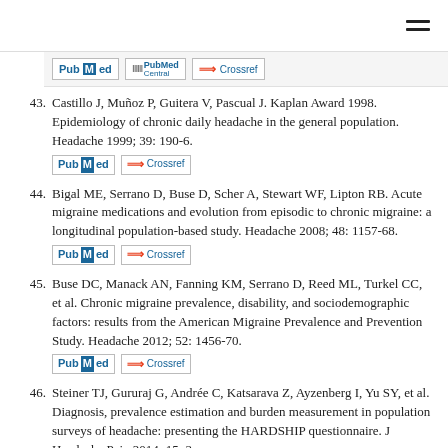[Figure (screenshot): PubMed, PubMed Central, and Crossref badge links from previous reference entry (partial, cut off at top)]
43. Castillo J, Muñoz P, Guitera V, Pascual J. Kaplan Award 1998. Epidemiology of chronic daily headache in the general population. Headache 1999; 39: 190-6.
44. Bigal ME, Serrano D, Buse D, Scher A, Stewart WF, Lipton RB. Acute migraine medications and evolution from episodic to chronic migraine: a longitudinal population-based study. Headache 2008; 48: 1157-68.
45. Buse DC, Manack AN, Fanning KM, Serrano D, Reed ML, Turkel CC, et al. Chronic migraine prevalence, disability, and sociodemographic factors: results from the American Migraine Prevalence and Prevention Study. Headache 2012; 52: 1456-70.
46. Steiner TJ, Gururaj G, Andrée C, Katsarava Z, Ayzenberg I, Yu SY, et al. Diagnosis, prevalence estimation and burden measurement in population surveys of headache: presenting the HARDSHIP questionnaire. J Headache Pain 2014; 15: 3.